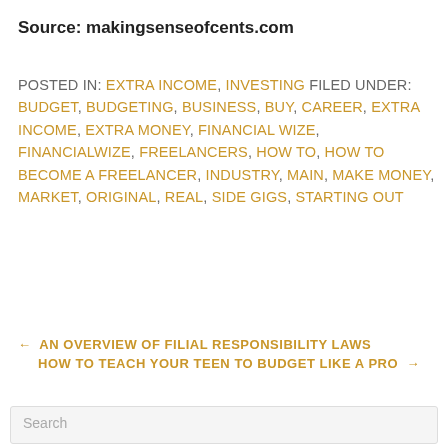Source: makingsenseofcents.com
POSTED IN: EXTRA INCOME, INVESTING FILED UNDER: BUDGET, BUDGETING, BUSINESS, BUY, CAREER, EXTRA INCOME, EXTRA MONEY, FINANCIAL WIZE, FINANCIALWIZE, FREELANCERS, HOW TO, HOW TO BECOME A FREELANCER, INDUSTRY, MAIN, MAKE MONEY, MARKET, ORIGINAL, REAL, SIDE GIGS, STARTING OUT
← AN OVERVIEW OF FILIAL RESPONSIBILITY LAWS
HOW TO TEACH YOUR TEEN TO BUDGET LIKE A PRO →
Search